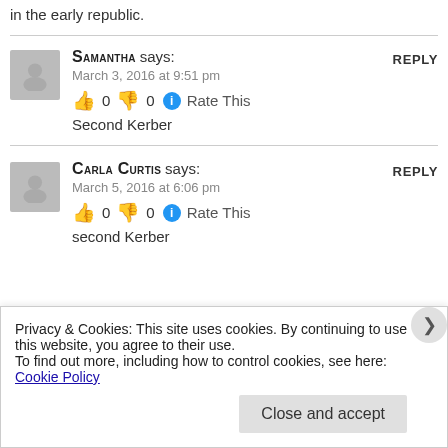in the early republic.
Samantha says: March 3, 2016 at 9:51 pm | 👍 0 👎 0 Rate This
Second Kerber
Carla Curtis says: March 5, 2016 at 6:06 pm | 👍 0 👎 0 Rate This
second Kerber
Privacy & Cookies: This site uses cookies. By continuing to use this website, you agree to their use. To find out more, including how to control cookies, see here: Cookie Policy